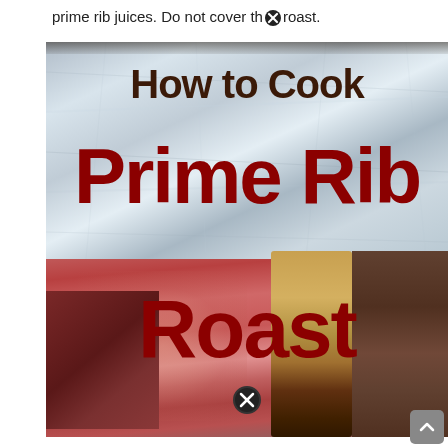prime rib juices. Do not cover the roast.
[Figure (photo): A composite image showing how to cook Prime Rib Roast. Top half shows a raw prime rib roast wrapped in foil with dark brown text 'How to Cook' and bold red text 'Prime Rib Roast' overlaid. Bottom half shows a close-up photo of a cooked prime rib roast, pink and medium-rare, with a bone visible on the right side.]